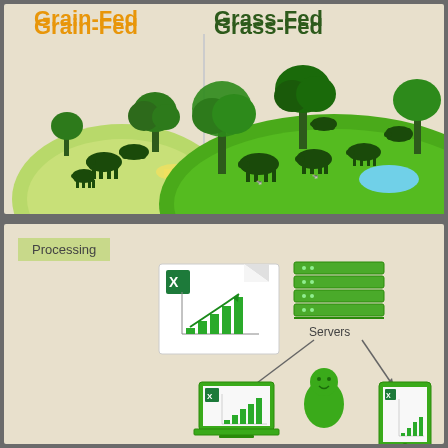[Figure (infographic): Top panel: Grain-Fed vs Grass-Fed cattle illustration. Left side shows cattle in a small fenced grain-fed area with limited space and grain feed. Right side shows cattle roaming freely on a large green pasture with trees and a pond, representing grass-fed environment.]
Grain-Fed
Grass-Fed
[Figure (infographic): Bottom panel: Processing section showing a spreadsheet/chart document icon, a bar chart with green rising bars, server racks labeled 'Servers', connected via arrows to a laptop with chart, a person/avatar icon, and a tablet with chart — illustrating data processing and distribution workflow.]
Processing